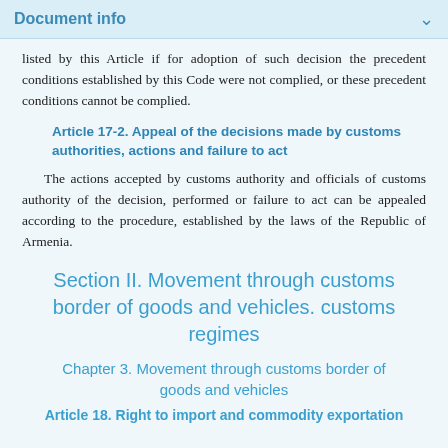Document info
listed by this Article if for adoption of such decision the precedent conditions established by this Code were not complied, or these precedent conditions cannot be complied.
Article 17-2. Appeal of the decisions made by customs authorities, actions and failure to act
The actions accepted by customs authority and officials of customs authority of the decision, performed or failure to act can be appealed according to the procedure, established by the laws of the Republic of Armenia.
Section II. Movement through customs border of goods and vehicles. customs regimes
Chapter 3. Movement through customs border of goods and vehicles
Article 18. Right to import and commodity exportation